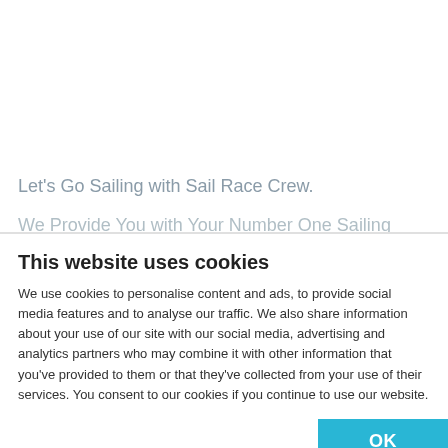Let's Go Sailing with Sail Race Crew.
We Provide You with Your Number One Sailing
This website uses cookies
We use cookies to personalise content and ads, to provide social media features and to analyse our traffic. We also share information about your use of our site with our social media, advertising and analytics partners who may combine it with other information that you've provided to them or that they've collected from your use of their services. You consent to our cookies if you continue to use our website.
OK
Necessary  Preferences  Statistics  Marketing  Show details